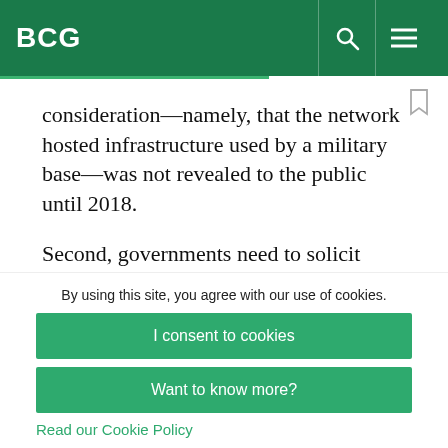BCG
consideration—namely, that the network hosted infrastructure used by a military base—was not revealed to the public until 2018.
Second, governments need to solicit input from, and work with, affected stakeholders as they
By using this site, you agree with our use of cookies.
I consent to cookies
Want to know more?
Read our Cookie Policy